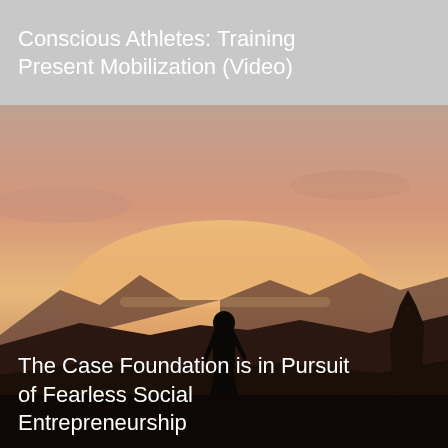Conscious Athletes: Training Present Mobilization (Video)
[Figure (photo): Silhouette of a person standing on a rocky landscape against a warm sunset sky with orange and pink hues and dark mountain ridgeline in the background.]
The Case Foundation is in Pursuit of Fearless Social Entrepreneurship